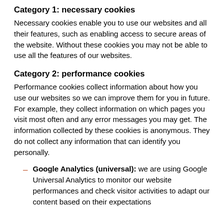Category 1: necessary cookies
Necessary cookies enable you to use our websites and all their features, such as enabling access to secure areas of the website. Without these cookies you may not be able to use all the features of our websites.
Category 2: performance cookies
Performance cookies collect information about how you use our websites so we can improve them for you in future. For example, they collect information on which pages you visit most often and any error messages you may get. The information collected by these cookies is anonymous. They do not collect any information that can identify you personally.
Google Analytics (universal): we are using Google Universal Analytics to monitor our website performances and check visitor activities to adapt our content based on their expectations